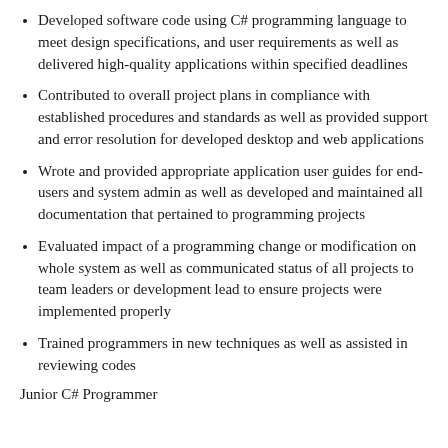Developed software code using C# programming language to meet design specifications, and user requirements as well as delivered high-quality applications within specified deadlines
Contributed to overall project plans in compliance with established procedures and standards as well as provided support and error resolution for developed desktop and web applications
Wrote and provided appropriate application user guides for end-users and system admin as well as developed and maintained all documentation that pertained to programming projects
Evaluated impact of a programming change or modification on whole system as well as communicated status of all projects to team leaders or development lead to ensure projects were implemented properly
Trained programmers in new techniques as well as assisted in reviewing codes
Junior C# Programmer